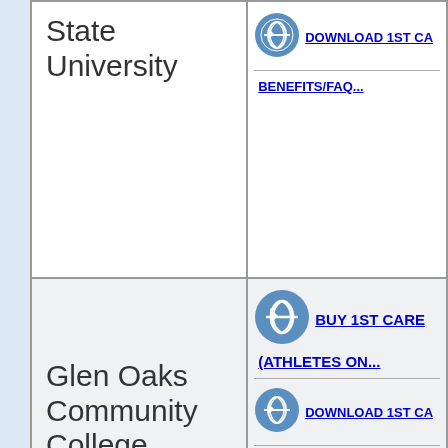| School | Links |
| --- | --- |
| State University | DOWNLOAD 1ST CA...
BENEFITS/FAQ... |
| Glen Oaks Community College | BUY 1ST CARE
(ATHLETES ON...
DOWNLOAD 1ST CA...
BENEFITS/FAQ... |
| Grace Christian University | BUY 1ST CARE
(ATHLETES ON... |